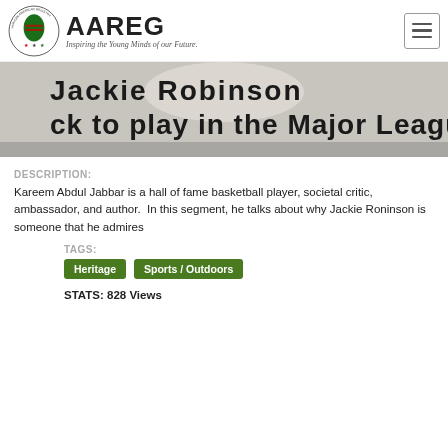AAREG — Inspiring the Young Minds of our Future.
[Figure (photo): Cropped black-and-white photo showing text 'Jackie Robinson' and 'ck to play in the Major League']
DESCRIPTION:
Kareem Abdul Jabbar is a hall of fame basketball player, societal critic, ambassador, and author. In this segment, he talks about why Jackie Roninson is someone that he admires
TAGS:
Heritage
Sports / Outdoors
STATS: 828 Views